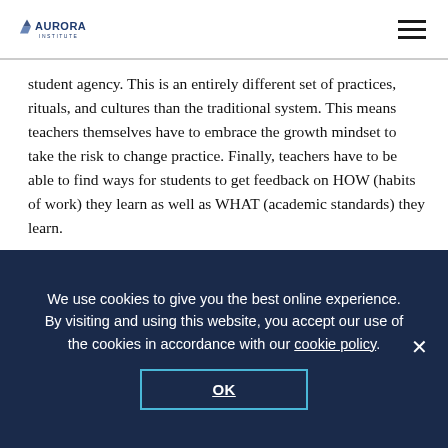Aurora Institute
student agency. This is an entirely different set of practices, rituals, and cultures than the traditional system. This means teachers themselves have to embrace the growth mindset to take the risk to change practice. Finally, teachers have to be able to find ways for students to get feedback on HOW (habits of work) they learn as well as WHAT (academic standards) they learn.
Laying the foundation for student agency helps everything else fall into place. Those schools that invest in putting down a strong foundation for igniting student agency seem to have more of the spirit of a personalized, competency-based system. There is more joy. There is more
We use cookies to give you the best online experience. By visiting and using this website, you accept our use of the cookies in accordance with our cookie policy.
OK